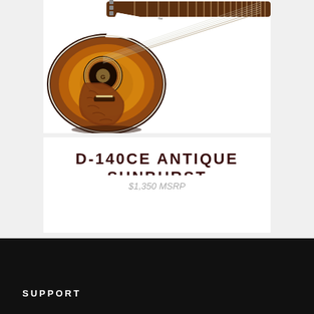[Figure (photo): Acoustic-electric guitar (D-140CE Antique Sunburst) with cutaway body, sunburst finish, decorative pickguard, and visible fretboard extending to the right. White background product photo.]
D-140CE  ANTIQUE  SUNBURST
$1,350 MSRP
SUPPORT